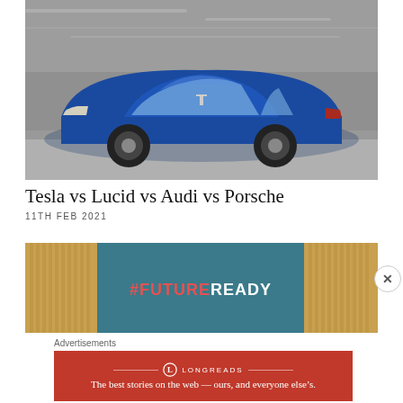[Figure (photo): Blue Tesla Model S electric sedan driving at speed on a road, motion blur background, front three-quarter view]
Tesla vs Lucid vs Audi vs Porsche
11TH FEB 2021
[Figure (photo): Indoor exhibition space with #FUTUREREADY text on a teal wall, wooden slat panels on sides]
Advertisements
[Figure (other): Longreads advertisement banner: red background with Longreads logo and text 'The best stories on the web — ours, and everyone else's.']